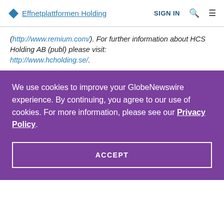Effnetplattformen Holding | SIGN IN
(http://www.remium.com/). For further information about HCS Holding AB (publ) please visit: http://www.hcholding.se/.
We use cookies to improve your GlobeNewswire experience. By continuing, you agree to our use of cookies. For more information, please see our Privacy Policy.
ACCEPT